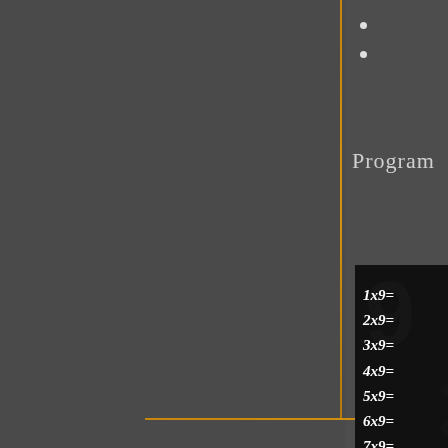•
•
Program
[Figure (illustration): Book cover showing multiplication table for 9 (1x9= through 9x9=) with title 'Multiplication' and subtitle 'M' in orange, dark background with watermark numbers]